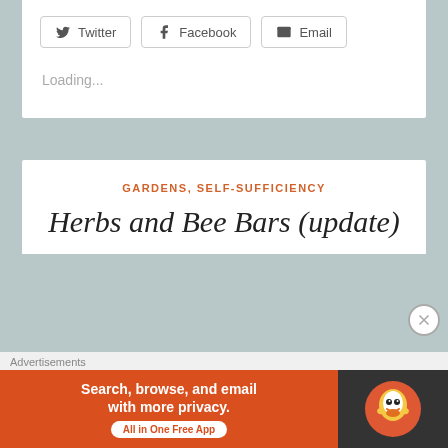Twitter  Facebook  Email
Loading...
GARDENS, SELF-SUFFICIENCY
Herbs and Bee Bars (update)
Advertisements
[Figure (screenshot): DuckDuckGo advertisement banner: 'Search, browse, and email with more privacy. All in One Free App' with DuckDuckGo duck logo on dark background]